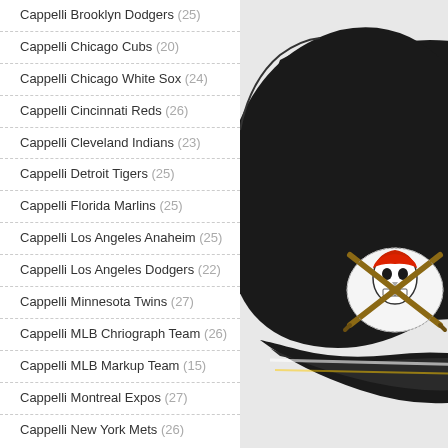Cappelli Brooklyn Dodgers (25)
Cappelli Chicago Cubs (20)
Cappelli Chicago White Sox (24)
Cappelli Cincinnati Reds (26)
Cappelli Cleveland Indians (23)
Cappelli Detroit Tigers (25)
Cappelli Florida Marlins (25)
Cappelli Los Angeles Anaheim (25)
Cappelli Los Angeles Dodgers (22)
Cappelli Minnesota Twins (27)
Cappelli MLB Chriograph Team (26)
Cappelli MLB Markup Team (15)
Cappelli Montreal Expos (27)
Cappelli New York Mets (26)
[Figure (photo): A black baseball cap with a Pittsburgh Pirates skull and crossbats logo, shown at an angle]